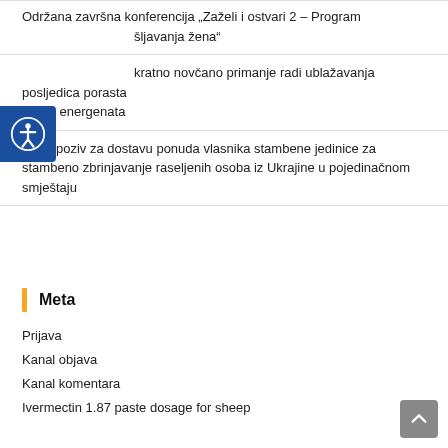Održana završna konferencija „Zaželi i ostvari 2 – Program šljavanja žena“
kratno novčano primanje radi ublažavanja posljedica porasta cijene energenata
Javni poziv za dostavu ponuda vlasnika stambene jedinice za stambeno zbrinjavanje raseljenih osoba iz Ukrajine u pojedinačnom smještaju
Meta
Prijava
Kanal objava
Kanal komentara
Ivermectin 1.87 paste dosage for sheep